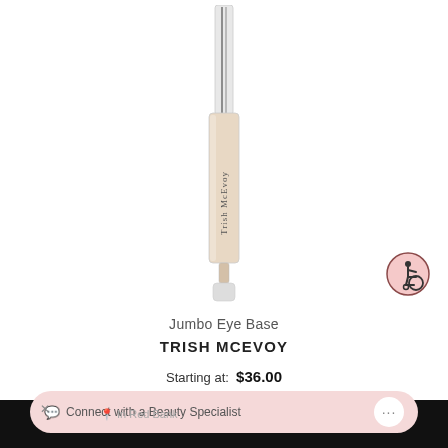[Figure (photo): A Trish McEvoy Jumbo Eye Base concealer/eye base product in a clear tube with a wand applicator. The tube is beige/nude colored with 'Trish McEvoy' text on the side. The cap is clear/transparent.]
[Figure (other): Accessibility icon — a person in a wheelchair depicted in a dark outline circle with pink/salmon background.]
Jumbo Eye Base
TRISH MCEVOY
Starting at: $36.00
Connect with a Beauty Specialist
in Red Bank
ADD TO BAG